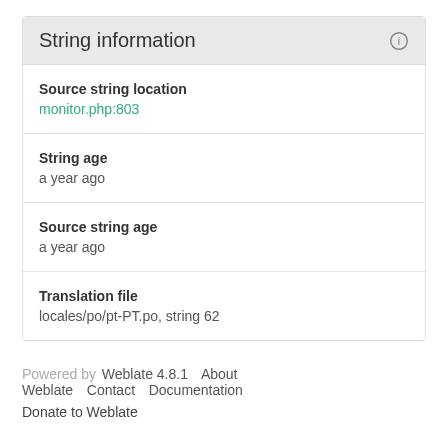String information
Source string location
monitor.php:803
String age
a year ago
Source string age
a year ago
Translation file
locales/po/pt-PT.po, string 62
Powered by Weblate 4.8.1   About Weblate   Contact   Documentation
Donate to Weblate